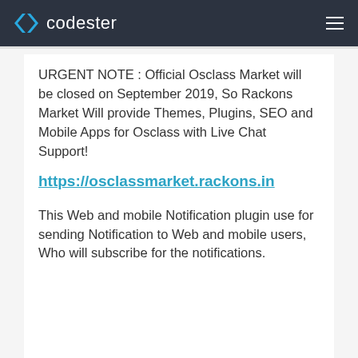codester
URGENT NOTE : Official Osclass Market will be closed on September 2019, So Rackons Market Will provide Themes, Plugins, SEO and Mobile Apps for Osclass with Live Chat Support!
https://osclassmarket.rackons.in
This Web and mobile Notification plugin use for sending Notification to Web and mobile users, Who will subscribe for the notifications.